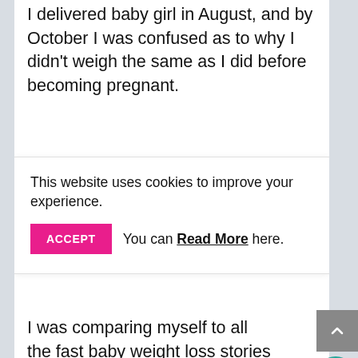I delivered baby girl in August, and by October I was confused as to why I didn't weigh the same as I did before becoming pregnant.
This website uses cookies to improve your experience.
ACCEPT  You can Read More here.
I was comparing myself to all the fast baby weight loss stories that are thrown in our faces.
Then I got the piece of information that freed me.